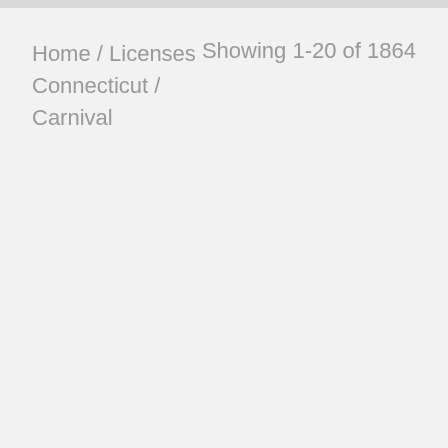Home / Licenses / Connecticut / Carnival
Showing 1-20 of 1864